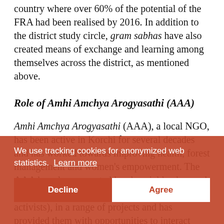country where over 60% of the potential of the FRA had been realised by 2016. In addition to the district study circle, gram sabhas have also created means of exchange and learning among themselves across the district, as mentioned above.
Role of Amhi Amchya Arogyasathi (AAA)
Amhi Amchya Arogyasathi (AAA), a local NGO, has been active in Korchi for several decades and has worked towards improving health, forest management and women's empowerment. The AAA has also supported local social leaders and district-level trained karyakarta (village activists), in a range of projects and has provided them with opportunities to interact with actors at district, state and national level through various discussions and debates that have helped enhance their existing levels of awareness, information and leadership skills and gain respect and acceptance within the larger